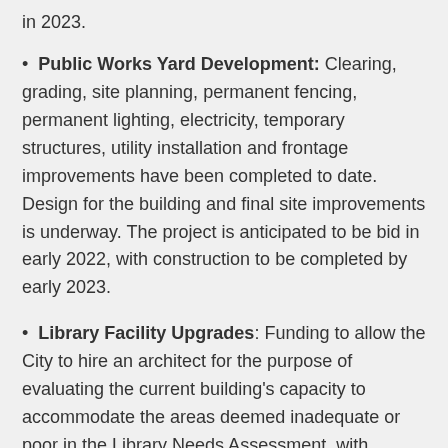in 2023.
Public Works Yard Development: Clearing, grading, site planning, permanent fencing, permanent lighting, electricity, temporary structures, utility installation and frontage improvements have been completed to date. Design for the building and final site improvements is underway. The project is anticipated to be bid in early 2022, with construction to be completed by early 2023.
Library Facility Upgrades: Funding to allow the City to hire an architect for the purpose of evaluating the current building's capacity to accommodate the areas deemed inadequate or poor in the Library Needs Assessment, with funding for improvements as identified by the architect spread over the next several years.